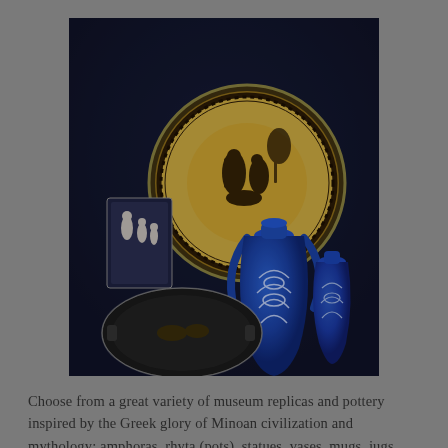[Figure (photo): A dark photograph showing Greek pottery and museum replicas arranged on a dark blue fabric background. Items include a decorative plate with Greek figures (kylix-style), two blue and white ceramic jugs/amphoras with floral and traditional Greek patterns, a small rectangular tile or plaque with white figures, and a dark ashtray-shaped dish with painted figures.]
Choose from a great variety of museum replicas and pottery inspired by the Greek glory of Minoan civilization and mythology: amphoras, rhyta (pots), statues, vases, mugs, jugs, relief representations, as well Greek facades of buildings of